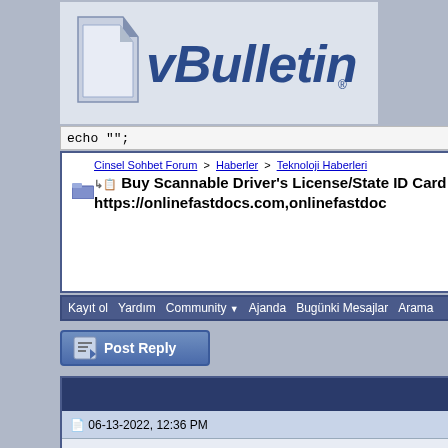[Figure (logo): vBulletin logo with stylized blue text and a folded page icon]
echo "";
Cinsel Sohbet Forum > Haberler > Teknoloji Haberleri
Buy Scannable Driver's License/State ID Card https://onlinefastdocs.com,onlinefastdoc
Kullanıcı ismi  [input]  Şifreniz  [input]
Kayıt ol  Yardım  Community ▼  Ajanda  Bugünki Mesajlar  Arama
[Figure (screenshot): Post Reply button]
Seçenekler ▼  Stil ▼
06-13-2022, 12:36 PM  #1
Randy  Member  Üyelik tarihi: Apr 2022  Mesajlar: 59
Buy Scannable Driver's License/State ID Card https://onlinefastdocs.com,onlinefastdoc
Buy Scannable Driver's License/State ID Card https://onlinefastdocs.com,onlinefas...o.com/WhatsApp :+1(301) 264-8876/ Scannable Passports, Scannable